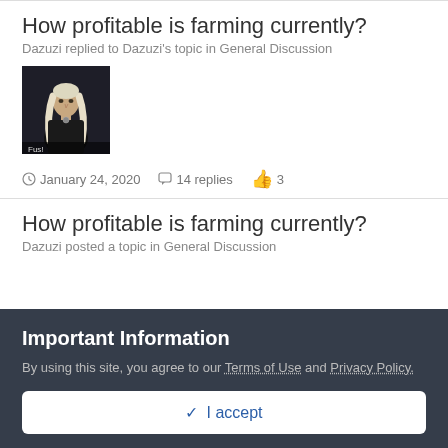How profitable is farming currently?
Dazuzi replied to Dazuzi's topic in General Discussion
[Figure (photo): Image of a man with long white-blond hair wearing dark clothing, with caption 'Fus!']
January 24, 2020  14 replies  3
How profitable is farming currently?
Dazuzi posted a topic in General Discussion
Important Information
By using this site, you agree to our Terms of Use and Privacy Policy.
✓ I accept